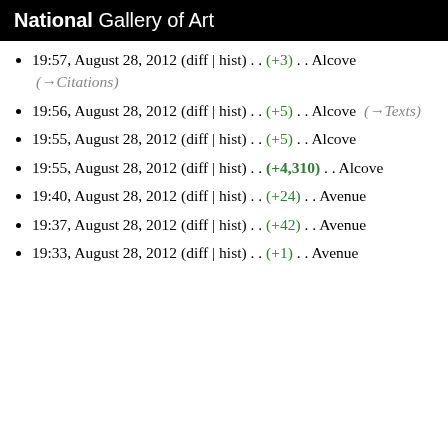National Gallery of Art
19:57, August 28, 2012 (diff | hist) . . (+3) . . Alcove (→Citations)
19:56, August 28, 2012 (diff | hist) . . (+5) . . Alcove (→Texts)
19:55, August 28, 2012 (diff | hist) . . (+5) . . Alcove
19:55, August 28, 2012 (diff | hist) . . (+4,310) . . Alcove
19:40, August 28, 2012 (diff | hist) . . (+24) . . Avenue
19:37, August 28, 2012 (diff | hist) . . (+42) . . Avenue
19:33, August 28, 2012 (diff | hist) . . (+1) . . Avenue